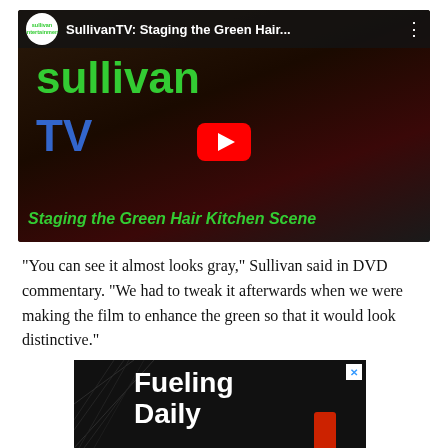[Figure (screenshot): YouTube video thumbnail for 'SullivanTV: Staging the Green Hair...' showing the Sullivan TV logo with green 'sullivan' and blue 'TV' text, a red YouTube play button, and the subtitle 'Staging the Green Hair Kitchen Scene' in green italic text. Dark background with people in a scene visible.]
“You can see it almost looks gray,” Sullivan said in DVD commentary. “We had to tweak it afterwards when we were making the film to enhance the green so that it would look distinctive.”
[Figure (screenshot): Partially visible advertisement with black background, geometric line patterns, text reading 'Fueling Daily' in white bold font, and a red can/container visible on the right side. A blue X close button is in the upper right corner.]